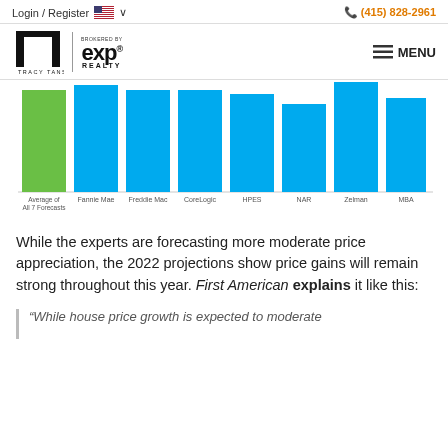Login / Register  🇺🇸 ∨    (415) 828-2961
[Figure (logo): Tracy Tan real estate logo with T symbol and eXp Realty brokered by badge, plus MENU button]
[Figure (bar-chart): 2022 Home Price Forecasts]
While the experts are forecasting more moderate price appreciation, the 2022 projections show price gains will remain strong throughout this year. First American explains it like this:
“While house price growth is expected to moderate